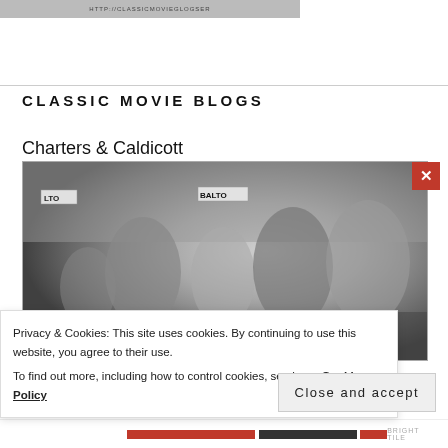[Figure (photo): Partial top image with URL watermark text visible]
CLASSIC MOVIE BLOGS
Charters & Caldicott
[Figure (photo): Black and white still from classic movie showing group of people including women and men, with signs reading LTO and BALTO visible in background]
Privacy & Cookies: This site uses cookies. By continuing to use this website, you agree to their use.
To find out more, including how to control cookies, see here: Cookie Policy
Close and accept